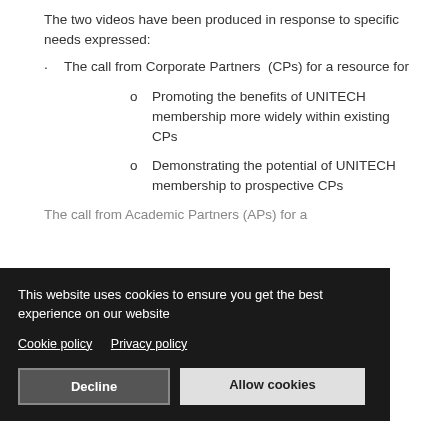The two videos have been produced in response to specific needs expressed:
· The call from Corporate Partners (CPs) for a resource for
o Promoting the benefits of UNITECH membership more widely within existing CPs
o Demonstrating the potential of UNITECH membership to prospective CPs
The call from Academic Partners (APs) for a
[Cookie banner overlay] This website uses cookies to ensure you get the best experience on our website. Cookie policy  Privacy policy. Decline / Allow cookies buttons.
The video comes from different ... The CP for i...